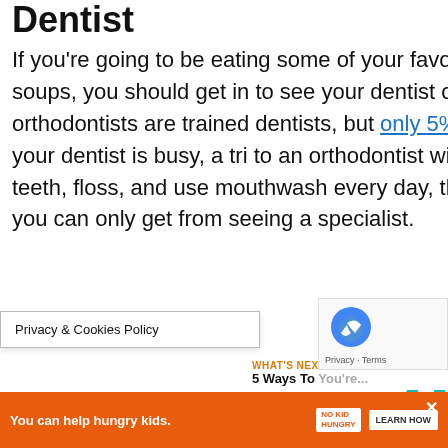Dentist
If you're going to be eating some of your favorite fall foods like cider, donuts or hot soups, you should get in to see your dentist or orthodontist. Thankfully, all orthodontists are trained dentists, but only 5% of dentists are also orthodontists, so if your dentist is busy, a trip to an orthodontist will do the trick. Even if you brush your teeth, floss, and use mouthwash every day, there's certain kinds of dental care that you can only get from seeing a specialist.
Privacy & Cookies Policy
WHAT'S NEXT → 5 Ways To...
You can help hungry kids.  NOKID HUNGRY  LEARN HOW